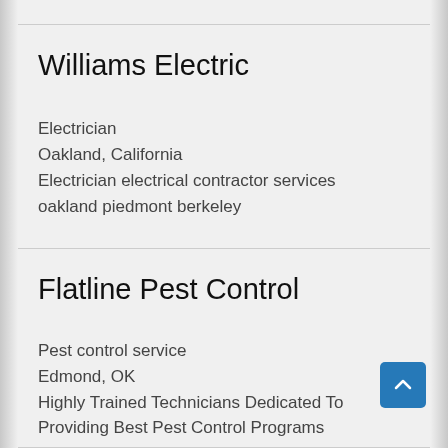Williams Electric
Electrician
Oakland, California
Electrician electrical contractor services oakland piedmont berkeley
Flatline Pest Control
Pest control service
Edmond, OK
Highly Trained Technicians Dedicated To Providing Best Pest Control Programs